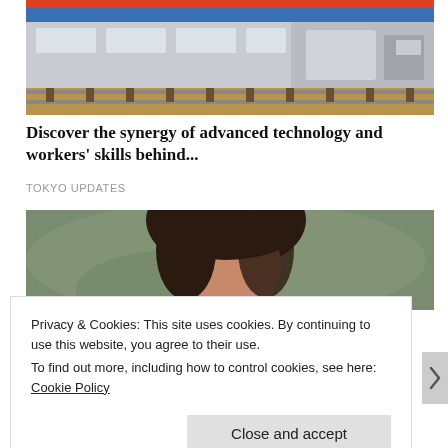[Figure (photo): A silver/grey passenger train on tracks with gravel ballast, blue stripe on top, trees and buildings in background]
Discover the synergy of advanced technology and workers' skills behind...
TOKYO UPDATES
[Figure (photo): Close-up portrait of a person with dark hair against a blurred grey-green background]
Privacy & Cookies: This site uses cookies. By continuing to use this website, you agree to their use.
To find out more, including how to control cookies, see here: Cookie Policy
Close and accept